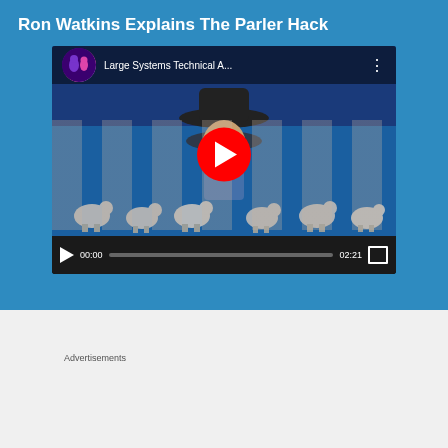Ron Watkins Explains The Parler Hack
[Figure (screenshot): YouTube video embed showing a man in a cowboy hat with animated sheep figures in the background. Channel: Large Systems Technical A... Video duration: 02:21. Playback position: 00:00.]
[Figure (screenshot): Partial blue navigation bar at the bottom of a webpage with a close (X) button.]
Advertisements
[Figure (infographic): Tumblr ad promoting ad-free browsing. Price: $39.99 a year or $4.99 a month.]